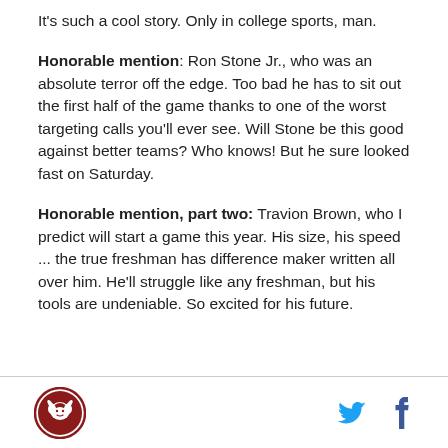It's such a cool story. Only in college sports, man.
Honorable mention: Ron Stone Jr., who was an absolute terror off the edge. Too bad he has to sit out the first half of the game thanks to one of the worst targeting calls you'll ever see. Will Stone be this good against better teams? Who knows! But he sure looked fast on Saturday.
Honorable mention, part two: Travion Brown, who I predict will start a game this year. His size, his speed ... the true freshman has difference maker written all over him. He'll struggle like any freshman, but his tools are undeniable. So excited for his future.
Logo and social share icons